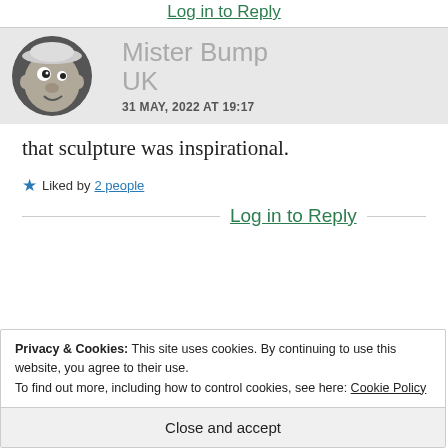Log in to Reply
[Figure (photo): Circular avatar photo of a clay or ceramic sculpted face resembling a cartoon character with a hat]
Mister Bump UK
31 MAY, 2022 AT 19:17
that sculpture was inspirational.
Liked by 2 people
Log in to Reply
Privacy & Cookies: This site uses cookies. By continuing to use this website, you agree to their use.
To find out more, including how to control cookies, see here: Cookie Policy
Close and accept